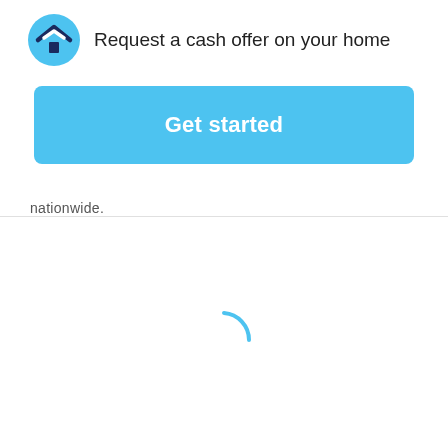[Figure (logo): Opendoor-style logo: circular blue icon with house/chevron symbol]
Request a cash offer on your home
[Figure (screenshot): Blue 'Get started' button]
nationwide.
[Figure (other): Loading spinner arc in blue]